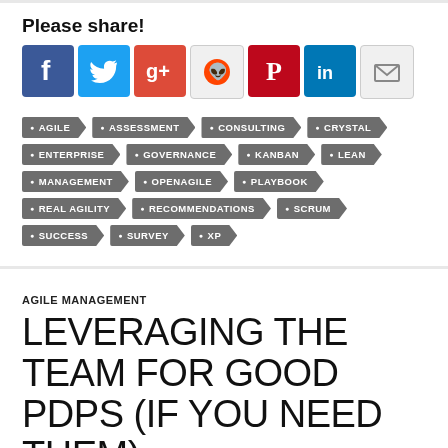Please share!
[Figure (infographic): Social media sharing icons: Facebook, Twitter, Google+, Reddit, Pinterest, LinkedIn, Email]
AGILE
ASSESSMENT
CONSULTING
CRYSTAL
ENTERPRISE
GOVERNANCE
KANBAN
LEAN
MANAGEMENT
OPENAGILE
PLAYBOOK
REAL AGILITY
RECOMMENDATIONS
SCRUM
SUCCESS
SURVEY
XP
AGILE MANAGEMENT
LEVERAGING THE TEAM FOR GOOD PDPS (IF YOU NEED THEM)